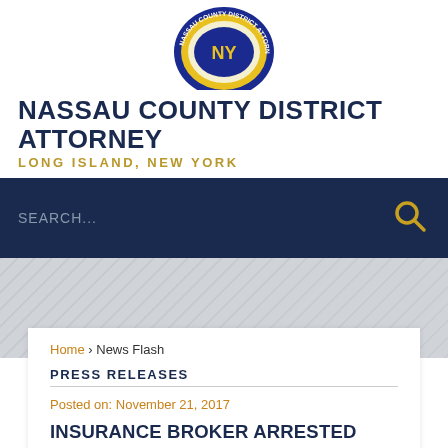[Figure (logo): Nassau County District Attorney seal/logo — circular emblem with blue border and yellow/gold interior]
NASSAU COUNTY DISTRICT ATTORNEY
LONG ISLAND, NEW YORK
SEARCH...
Home › News Flash
PRESS RELEASES
Posted on: November 21, 2017
INSURANCE BROKER ARRESTED FOR USING STOLEN IDENTITIES TO ILLEGALLY ACQUIRE CORPORATE